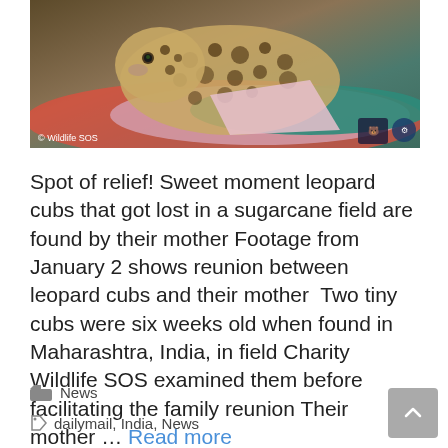[Figure (photo): A leopard cub lying on colorful fabric/clothing inside what appears to be a suitcase or bag. Wildlife SOS watermark visible in bottom left corner, with two organization logos in bottom right.]
Spot of relief! Sweet moment leopard cubs that got lost in a sugarcane field are found by their mother Footage from January 2 shows reunion between leopard cubs and their mother  Two tiny cubs were six weeks old when found in Maharashtra, India, in field Charity Wildlife SOS examined them before facilitating the family reunion Their mother ... Read more
News
dailymail, India, News